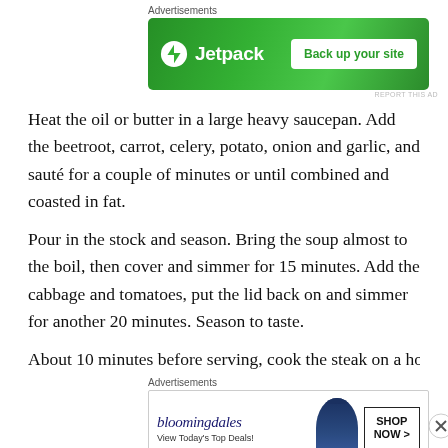Advertisements
[Figure (infographic): Jetpack advertisement banner with green background showing Jetpack logo and 'Back up your site' button]
Heat the oil or butter in a large heavy saucepan. Add the beetroot, carrot, celery, potato, onion and garlic, and sauté for a couple of minutes or until combined and coasted in fat.
Pour in the stock and season. Bring the soup almost to the boil, then cover and simmer for 15 minutes. Add the cabbage and tomatoes, put the lid back on and simmer for another 20 minutes. Season to taste.
About 10 minutes before serving, cook the steak on a hot
Advertisements
[Figure (infographic): Bloomingdale's advertisement banner showing logo, 'View Today's Top Deals!' tagline, woman with hat, and 'SHOP NOW >' button]